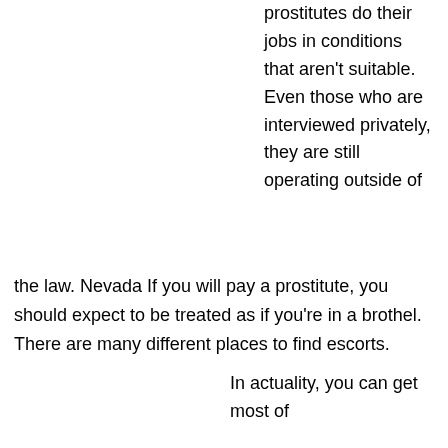prostitutes do their jobs in conditions that aren't suitable. Even those who are interviewed privately, they are still operating outside of
the law. Nevada If you will pay a prostitute, you should expect to be treated as if you're in a brothel. There are many different places to find escorts.
In actuality, you can get most of